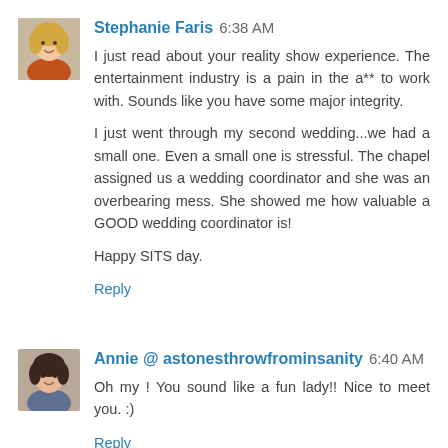[Figure (photo): Profile photo of Stephanie Faris, a woman with blonde hair wearing an orange top]
Stephanie Faris 6:38 AM
I just read about your reality show experience. The entertainment industry is a pain in the a** to work with. Sounds like you have some major integrity.

I just went through my second wedding...we had a small one. Even a small one is stressful. The chapel assigned us a wedding coordinator and she was an overbearing mess. She showed me how valuable a GOOD wedding coordinator is!

Happy SITS day.
Reply
[Figure (photo): Profile photo of Annie, a woman with dark hair, smiling]
Annie @ astonesthrowfrominsanity 6:40 AM
Oh my ! You sound like a fun lady!! Nice to meet you. :)
Reply